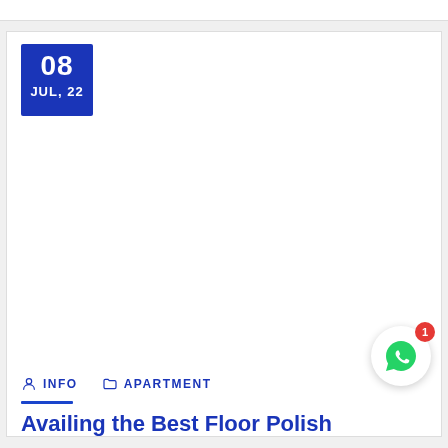[Figure (other): Date badge showing 08 JUL, 22 in blue square]
INFO   APARTMENT
Availing the Best Floor Polish